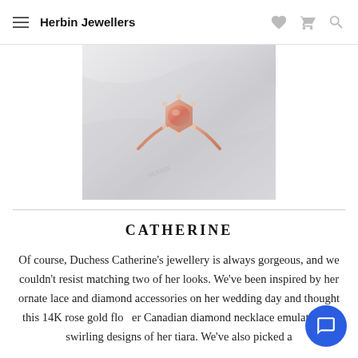Herbin Jewellers
[Figure (photo): A rose gold morganite halo engagement ring displayed on white fabric]
CATHERINE
Of course, Duchess Catherine's jewellery is always gorgeous, and we couldn't resist matching two of her looks. We've been inspired by her ornate lace and diamond accessories on her wedding day and thought this 14K rose gold flo... Canadian diamond necklace emulates the swirling designs of her tiara. We've also picked a